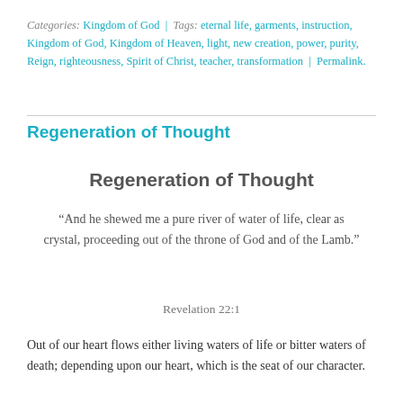Categories: Kingdom of God | Tags: eternal life, garments, instruction, Kingdom of God, Kingdom of Heaven, light, new creation, power, purity, Reign, righteousness, Spirit of Christ, teacher, transformation | Permalink.
Regeneration of Thought
Regeneration of Thought
“And he shewed me a pure river of water of life, clear as crystal, proceeding out of the throne of God and of the Lamb.”
Revelation 22:1
Out of our heart flows either living waters of life or bitter waters of death; depending upon our heart, which is the seat of our character.